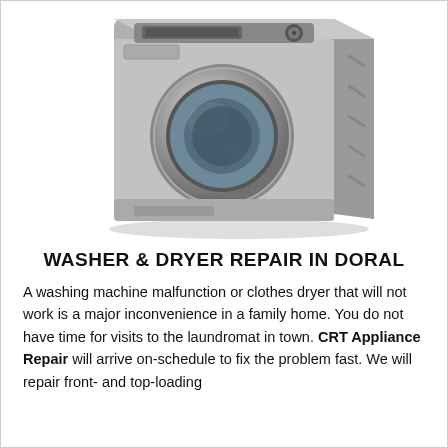[Figure (photo): A silver/grey front-loading washing machine shown in perspective view against a white background.]
WASHER & DRYER REPAIR IN DORAL
A washing machine malfunction or clothes dryer that will not work is a major inconvenience in a family home. You do not have time for visits to the laundromat in town. CRT Appliance Repair will arrive on-schedule to fix the problem fast. We will repair front- and top-loading